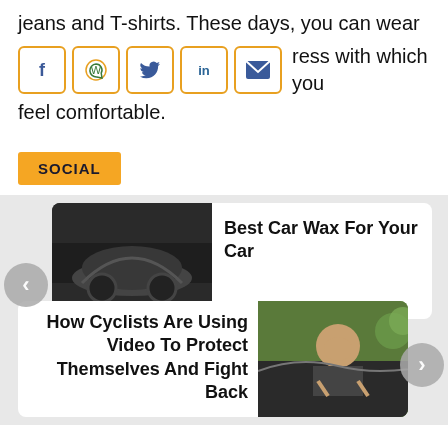jeans and T-shirts. These days, you can wear [social icons] more of the dress with which you feel comfortable.
[Figure (infographic): Row of 5 social media share icons: Facebook, WhatsApp, Twitter, LinkedIn, Email]
SOCIAL
[Figure (infographic): Slideshow carousel with two cards: 1) Best Car Wax For Your Car with a black and white car wax image, 2) How Cyclists Are Using Video To Protect Themselves And Fight Back with a photo of an angry driver in a car. Left and right navigation arrows visible.]
Best Car Wax For Your Car
How Cyclists Are Using Video To Protect Themselves And Fight Back